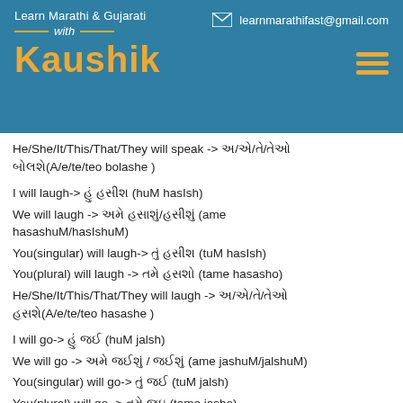Learn Marathi & Gujarati with Kaushik | learnmarathifast@gmail.com
He/She/It/This/That/They will speak -> અ/એ/તે/તેઓ બોલશે(A/e/te/teo bolashe )
I will laugh-> હું હસીશ (huM hasIsh)
We will laugh -> અમે હસાશું/હસીશું (ame hasashuM/hasIshuM)
You(singular) will laugh-> તું હસીશ (tuM hasIsh)
You(plural) will laugh -> તમે હસશો (tame hasasho)
He/She/It/This/That/They will laugh -> અ/એ/તે/તેઓ હસશે(A/e/te/teo hasashe )
I will go-> હું જઈશ (huM jalsh)
We will go -> અમે જઈશું / જઈશું (ame jashuM/jalshuM)
You(singular) will go-> તું જઈશ (tuM jalsh)
You(plural) will go -> તમે જઇ (tame jasho)